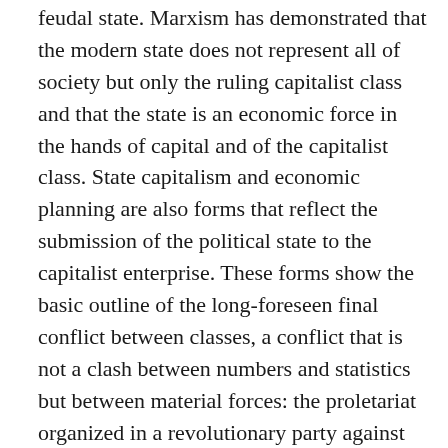feudal state. Marxism has demonstrated that the modern state does not represent all of society but only the ruling capitalist class and that the state is an economic force in the hands of capital and of the capitalist class. State capitalism and economic planning are also forms that reflect the submission of the political state to the capitalist enterprise. These forms show the basic outline of the long-foreseen final conflict between classes, a conflict that is not a clash between numbers and statistics but between material forces: the proletariat organized in a revolutionary party against the existing state.
Counter-thesis V
Now that the unexpected character of today's economy is an accepted fact, if Marxism wants to continue to have any validity it must seek a third class